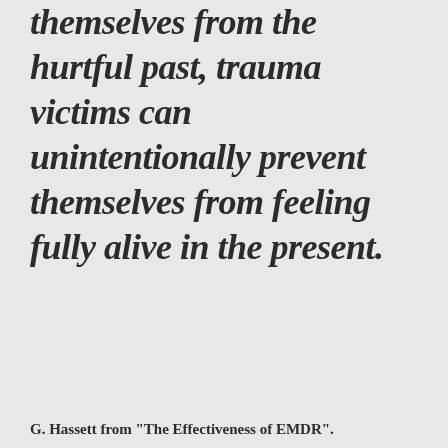themselves from the hurtful past, trauma victims can unintentionally prevent themselves from feeling fully alive in the present.
G. Hassett from "The Effectiveness of EMDR".